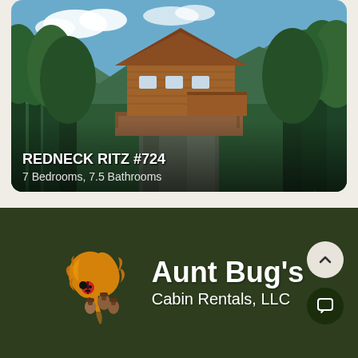[Figure (photo): A large log cabin/treehouse structure elevated on stone pillars, surrounded by lush green forest with mountains and blue sky in the background. The cabin has wooden decks and multiple windows.]
REDNECK RITZ #724
7 Bedrooms, 7.5 Bathrooms
[Figure (logo): Aunt Bug's Cabin Rentals, LLC logo featuring autumn leaves, acorns, and a ladybug illustration in orange and brown tones, with white bold text on dark green background.]